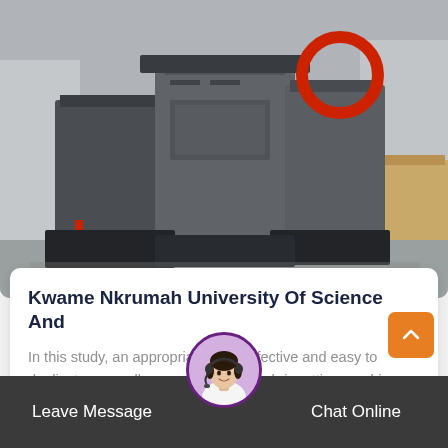[Figure (photo): Industrial machinery — large heavy-duty equipment with metal frames, rollers, and mechanical components on a concrete floor. Appears to be a briquetting or industrial press machine in grey and black.]
Kwame Nkrumah University Of Science And
In this study, an appropriate, cost effective and easy to duplicate manually operated biomass briquetting machine suitable for use in rural…
More Details
[Figure (photo): Customer service representative avatar — circular photo of a woman wearing a headset, used as chat support icon.]
Leave Message
Chat Online